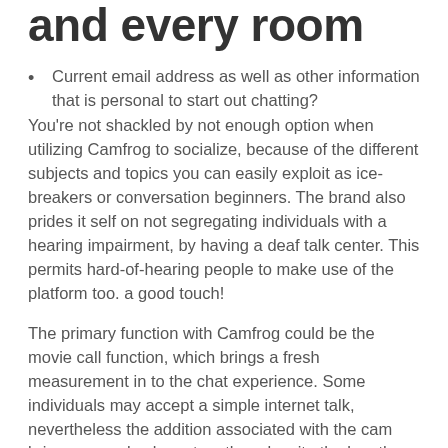and every room
Current email address as well as other information that is personal to start out chatting?
You're not shackled by not enough option when utilizing Camfrog to socialize, because of the different subjects and topics you can easily exploit as ice-breakers or conversation beginners. The brand also prides it self on not segregating individuals with a hearing impairment, by having a deaf talk center. This permits hard-of-hearing people to make use of the platform too. a good touch!
The primary function with Camfrog could be the movie call function, which brings a fresh measurement in to the chat experience. Some individuals may accept a simple internet talk, nevertheless the addition associated with the cam brings a couple closer together, despite the length among them.
Unfortuitously, using benefit about what appears like a great